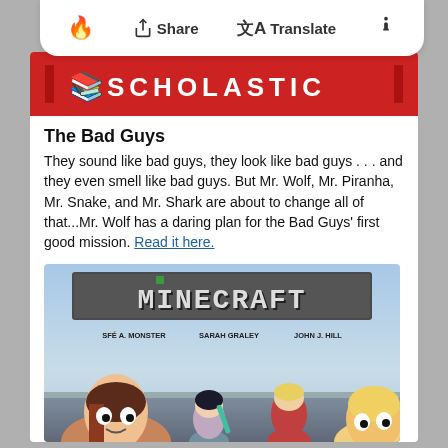Share   Translate
[Figure (logo): Scholastic logo: red banner with open book icon and SCHOLASTIC text in white capital letters with red vertical bars on each side]
The Bad Guys
They sound like bad guys, they look like bad guys . . . and they even smell like bad guys. But Mr. Wolf, Mr. Piranha, Mr. Snake, and Mr. Shark are about to change all of that...Mr. Wolf has a daring plan for the Bad Guys' first good mission. Read it here.
[Figure (illustration): Minecraft graphic novel book cover illustration showing the MINECRAFT logo in blocky pixel style, authors SFÉ A. MONSTER, SARAH GRALEY, JOHN J. HILL, and cartoon characters including two large characters in the foreground and two smaller characters in the middle distance fighting with a teal sword, against a blue sky background with clouds.]